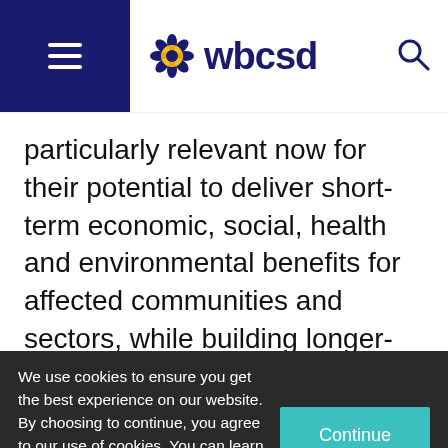[Figure (logo): WBCSD logo with hamburger menu on left dark blue background, WBCSD text with flower/gear icon, and search icon on right]
particularly relevant now for their potential to deliver short-term economic, social, health and environmental benefits for affected communities and sectors, while building longer-term social, economic and ecological resilience.
We use cookies to ensure you get the best experience on our website. By choosing to continue, you agree to our use of cookies. You can learn more about cookies on our privacy policy page.